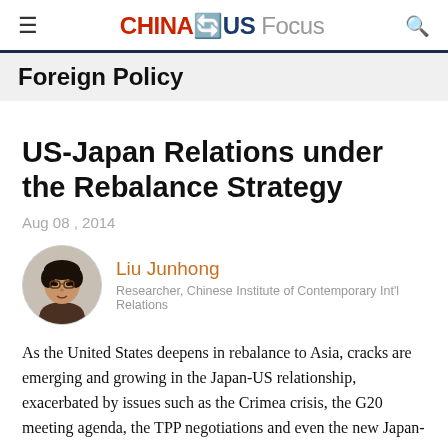CHINA⇄US Focus
Foreign Policy
US-Japan Relations under the Rebalance Strategy
Aug 08 , 2014
Liu Junhong
Researcher, Chinese Institute of Contemporary Int'l Relations
As the United States deepens in rebalance to Asia, cracks are emerging and growing in the Japan-US relationship, exacerbated by issues such as the Crimea crisis, the G20 meeting agenda, the TPP negotiations and even the new Japan-